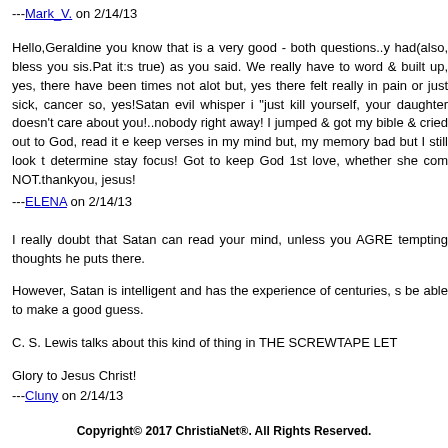---Mark_V. on 2/14/13
Hello,Geraldine you know that is a very good - both questions..y had(also, bless you sis.Pat it:s true) as you said. We really have to word & built up, yes, there have been times not alot but, yes there felt really in pain or just sick, cancer so, yes!Satan evil whisper i "just kill yourself, your daughter doesn't care about you!..nobody right away! I jumped & got my bible & cried out to God, read it e keep verses in my mind but, my memory bad but I still look t determine stay focus! Got to keep God 1st love, whether she com NOT.thankyou, jesus!
---ELENA on 2/14/13
I really doubt that Satan can read your mind, unless you AGRE tempting thoughts he puts there.
However, Satan is intelligent and has the experience of centuries, s be able to make a good guess.
C. S. Lewis talks about this kind of thing in THE SCREWTAPE LET
Glory to Jesus Christ!
---Cluny on 2/14/13
Copyright© 2017 ChristiaNet®. All Rights Reserved.